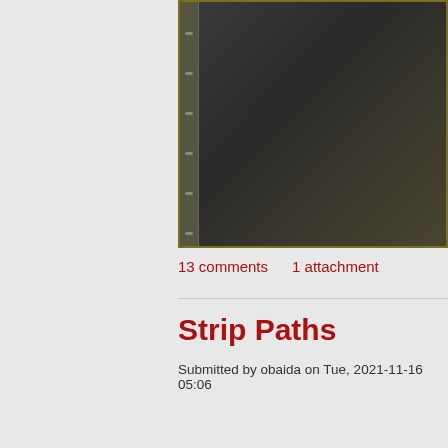[Figure (screenshot): Dark-toned image area resembling a software render or notebook with spiral binding on left side, gradient dark background with olive/yellow border]
13 comments    1 attachment
Strip Paths
Submitted by obaida on Tue, 2021-11-16 05:06
0 votes
A FAST Script for Stripping All Paths ( Render Paths .
Login or register to post comments .